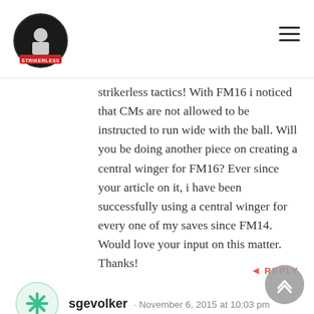Strikerless logo and navigation
strikerless tactics! With FM16 i noticed that CMs are not allowed to be instructed to run wide with the ball. Will you be doing another piece on creating a central winger for FM16? Ever since your article on it, i have been successfully using a central winger for every one of my saves since FM14. Would love your input on this matter. Thanks!
REPLY
sgevolker · November 6, 2015 at 10:03 pm
Hi Guido,
I play with York, a lower mid table team from the Sky Bet League 2. So the players